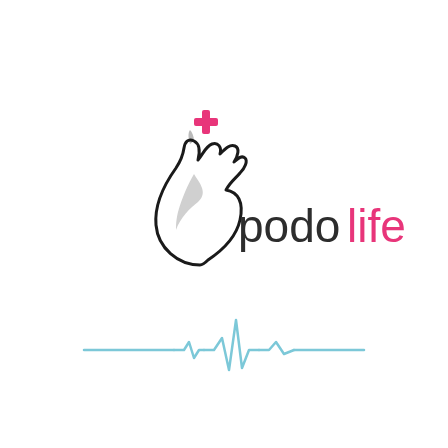[Figure (logo): Podolife logo: a foot silhouette with a pink medical cross above the toes on the left, and the text 'podo' in dark gray and 'life' in pink on the right, with a light blue ECG/heartbeat line below]